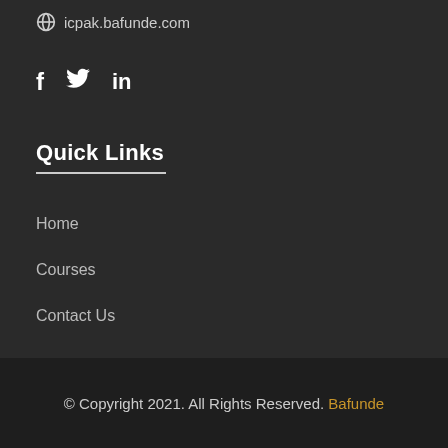icpak.bafunde.com
[Figure (illustration): Social media icons: Facebook (f), Twitter (bird), LinkedIn (in)]
Quick Links
Home
Courses
Contact Us
© Copyright 2021. All Rights Reserved. Bafunde